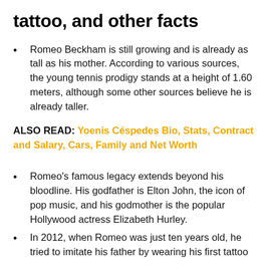tattoo, and other facts
Romeo Beckham is still growing and is already as tall as his mother. According to various sources, the young tennis prodigy stands at a height of 1.60 meters, although some other sources believe he is already taller.
ALSO READ: Yoenis Céspedes Bio, Stats, Contract and Salary, Cars, Family and Net Worth
Romeo's famous legacy extends beyond his bloodline. His godfather is Elton John, the icon of pop music, and his godmother is the popular Hollywood actress Elizabeth Hurley.
In 2012, when Romeo was just ten years old, he tried to imitate his father by wearing his first tattoo